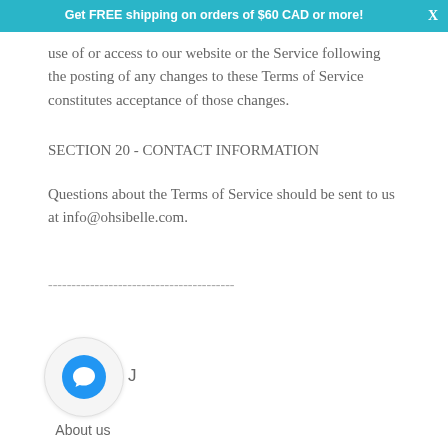Get FREE shipping on orders of $60 CAD or more!
use of or access to our website or the Service following the posting of any changes to these Terms of Service constitutes acceptance of those changes.
SECTION 20 - CONTACT INFORMATION
Questions about the Terms of Service should be sent to us at info@ohsibelle.com.
----------------------------------------
[Figure (illustration): Chat bubble icon inside a circular avatar button, with letter J to the right, and 'About us' label below]
About us